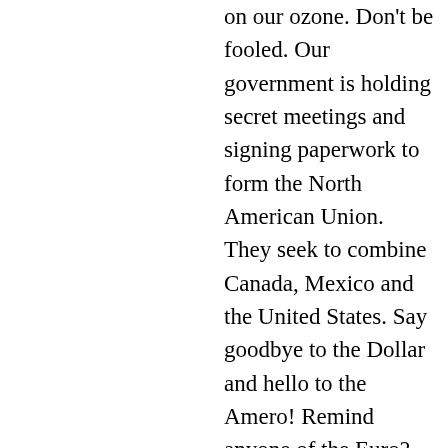on our ozone. Don't be fooled. Our government is holding secret meetings and signing paperwork to form the North American Union. They seek to combine Canada, Mexico and the United States. Say goodbye to the Dollar and hello to the Amero! Remind anyone of the Euro? Wake up folks. Our media is owned by five companies and they are not watchdogs of Freedom. They are the lapdogs of the Global Elite. Turn your eyes away from the truth and you doom your children to a future Police State, chip implants and tyranny from a remote, Global Government. Stop and think a moment. We are being enslaved through incrementalism. We can't even tie a piece of string to a stick and dip it into the ocean without a license. I recently went